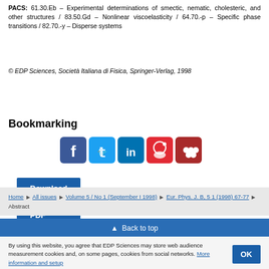PACS: 61.30.Eb – Experimental determinations of smectic, nematic, cholesteric, and other structures / 83.50.Gd – Nonlinear viscoelasticity / 64.70.-p – Specific phase transitions / 82.70.-y – Disperse systems
© EDP Sciences, Società Italiana di Fisica, Springer-Verlag, 1998
Download this article in PDF format
Bookmarking
[Figure (other): Social media bookmark icons: Facebook, Twitter, LinkedIn, Weibo, Mendeley]
Home ▶ All issues ▶ Volume 5 / No 1 (September I 1998) ▶ Eur. Phys. J. B, 5 1 (1998) 67-77 ▶ Abstract
▲ Back to top
By using this website, you agree that EDP Sciences may store web audience measurement cookies and, on some pages, cookies from social networks. More information and setup